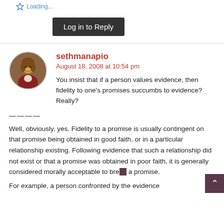[Figure (other): Star/bookmark icon with partial text label]
Log in to Reply
sethmanapio
August 18, 2008 at 10:54 pm
You insist that if a person values evidence, then fidelity to one’s promises succumbs to evidence? Really?
————
Well, obviously, yes. Fidelity to a promise is usually contingent on that promise being obtained in good faith, or in a particular relationship existing. Following evidence that such a relationship did not exist or that a promise was obtained in poor faith, it is generally considered morally acceptable to break a promise.
For example, a person confronted by the evidence...